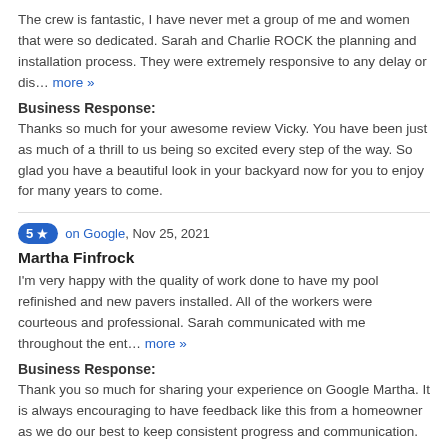The crew is fantastic, I have never met a group of me and women that were so dedicated. Sarah and Charlie ROCK the planning and installation process. They were extremely responsive to any delay or dis… more »
Business Response:
Thanks so much for your awesome review Vicky. You have been just as much of a thrill to us being so excited every step of the way. So glad you have a beautiful look in your backyard now for you to enjoy for many years to come.
5 ★  on Google, Nov 25, 2021
Martha Finfrock
I'm very happy with the quality of work done to have my pool refinished and new pavers installed. All of the workers were courteous and professional. Sarah communicated with me throughout the ent… more »
Business Response:
Thank you so much for sharing your experience on Google Martha. It is always encouraging to have feedback like this from a homeowner as we do our best to keep consistent progress and communication. Your business is much appreciated. So glad you have an awesome new look look for you to enjoy for many years to come!
5 ★  on Google, Nov 23, 2021